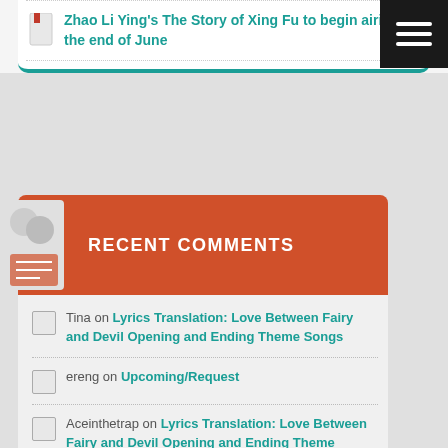Zhao Li Ying's The Story of Xing Fu to begin airing at the end of June
[Figure (other): Hamburger menu icon - dark background with three white horizontal lines]
RECENT COMMENTS
Tina on Lyrics Translation: Love Between Fairy and Devil Opening and Ending Theme Songs
ereng on Upcoming/Request
Aceinthetrap on Lyrics Translation: Love Between Fairy and Devil Opening and Ending Theme Songs
anon on Yang Zi and Cheng Yi's Immortal Samsara suddenly drops like a hot potato today!